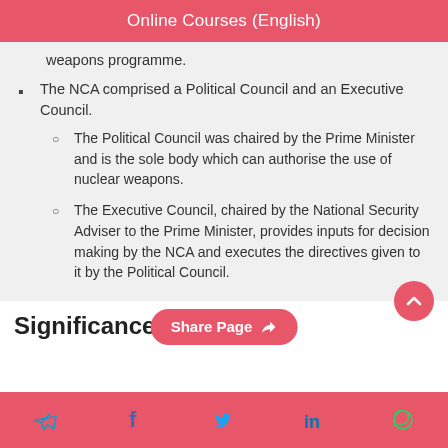Online Courses (English)
weapons programme.
The NCA comprised a Political Council and an Executive Council.
The Political Council was chaired by the Prime Minister and is the sole body which can authorise the use of nuclear weapons.
The Executive Council, chaired by the National Security Adviser to the Prime Minister, provides inputs for decision making by the NCA and executes the directives given to it by the Political Council.
Significance of
Share Page | Social media icons: Telegram, Facebook, Twitter, LinkedIn, WhatsApp